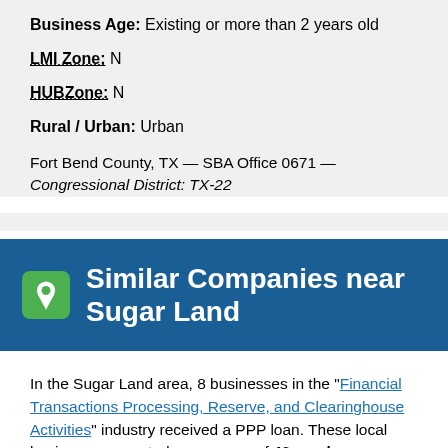Business Age: Existing or more than 2 years old
LMI Zone: N
HUBZone: N
Rural / Urban: Urban
Fort Bend County, TX — SBA Office 0671 — Congressional District: TX-22
Similar Companies near Sugar Land
In the Sugar Land area, 8 businesses in the "Financial Transactions Processing, Reserve, and Clearinghouse Activities" industry received a PPP loan. These local businesses reported an average of 46 employees (compared to this company's 358) and received an average PPP loan of $612,017 (compared to this